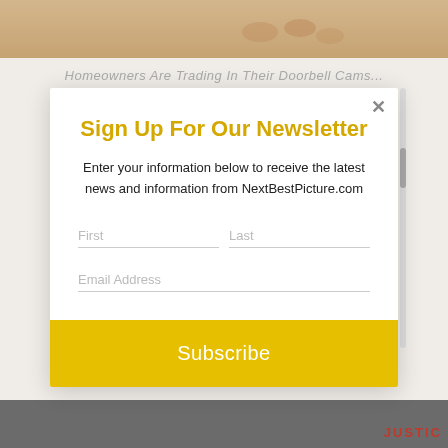[Figure (screenshot): Sandy beach background image at top of page, partially obscured by modal overlay]
Sign Up For Our Newsletter
Enter your information below to receive the latest news and information from NextBestPicture.com
First | Last | Email Address (form fields)
Subscribe (button)
[Figure (screenshot): Grey background at bottom with partial red text 'JUSTIC']